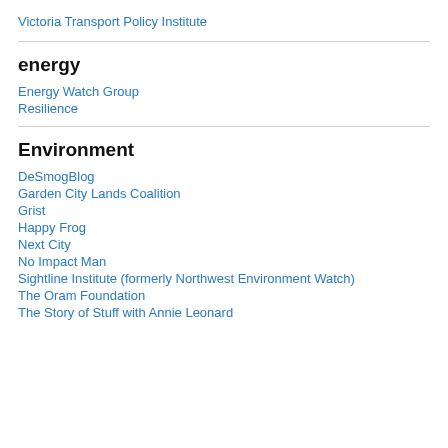Victoria Transport Policy Institute
energy
Energy Watch Group
Resilience
Environment
DeSmogBlog
Garden City Lands Coalition
Grist
Happy Frog
Next City
No Impact Man
Sightline Institute (formerly Northwest Environment Watch)
The Oram Foundation
The Story of Stuff with Annie Leonard